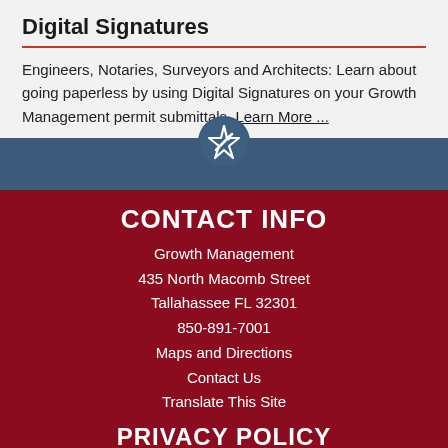Digital Signatures
Engineers, Notaries, Surveyors and Architects: Learn about going paperless by using Digital Signatures on your Growth Management permit submittals. Learn More ...
[Figure (logo): Star icon logo overlapping a steel-blue horizontal band]
CONTACT INFO
Growth Management
435 North Macomb Street
Tallahassee FL 32301
850-891-7001
Maps and Directions
Contact Us
Translate This Site
PRIVACY POLICY
DISCLAIMER